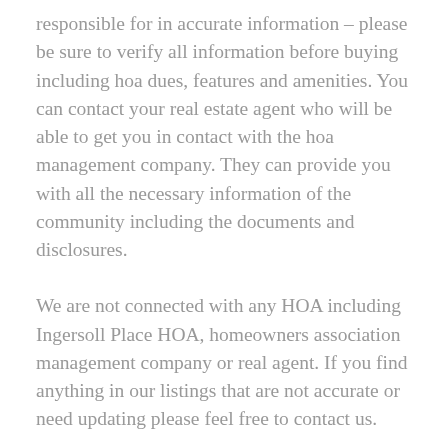responsible for in accurate information – please be sure to verify all information before buying including hoa dues, features and amenities. You can contact your real estate agent who will be able to get you in contact with the hoa management company. They can provide you with all the necessary information of the community including the documents and disclosures.
We are not connected with any HOA including Ingersoll Place HOA, homeowners association management company or real agent. If you find anything in our listings that are not accurate or need updating please feel free to contact us.